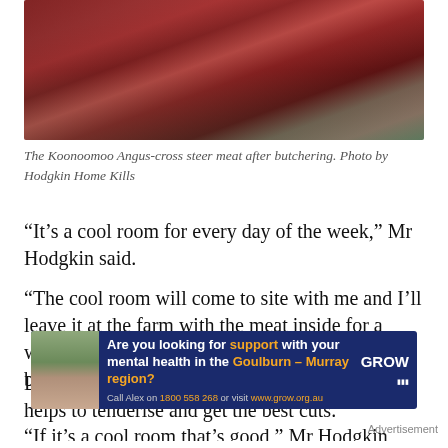[Figure (photo): Photo of raw red meat (Koonoomoo Angus-cross steer) being held up, showing the cut surface after butchering, with greenery in background.]
The Koonoomoo Angus-cross steer meat after butchering. Photo by Hodgkin Home Kills
“It’s a cool room for every day of the week,” Mr Hodgkin said.
“The cool room will come to site with me and I’ll leave it at the farm with the meat inside for a week. Then I come back seven days later to butcher it all up.”
Letting the meat hang and cool after slaughter helps to tenderise and get the best cuts.
“If it’s a cool room that’s good,” Mr Hodgkin said
[Figure (infographic): GROW mental health advertisement banner. Text reads: Are you looking for support with your mental health in the Goulburn - Murray region? Call Alex on 1800 558 268 or visit www.grow.org.au. GROW logo on right. Woman's photo on left.]
Advertisement